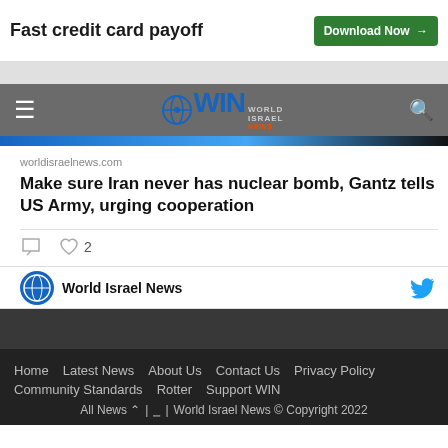[Figure (screenshot): Ad banner with text 'Fast credit card payoff' and a green 'Download Now' button]
[Figure (screenshot): World Israel News (WIN) navigation bar with hamburger menu, WIN logo, and search icon]
worldisraelnews.com
Make sure Iran never has nuclear bomb, Gantz tells US Army, urging cooperation
[Figure (screenshot): Social card action icons: comment bubble and heart with number 2]
World Israel News
Home  Latest News  About Us  Contact Us  Privacy Policy  Community Standards  Rotter  Support WIN  All News ↑ | ⊞ | World Israel News © Copyright 2022